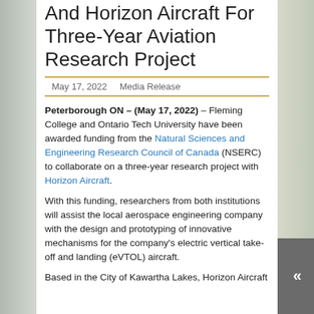And Horizon Aircraft For Three-Year Aviation Research Project
May 17, 2022   Media Release
Peterborough ON – (May 17, 2022) – Fleming College and Ontario Tech University have been awarded funding from the Natural Sciences and Engineering Research Council of Canada (NSERC) to collaborate on a three-year research project with Horizon Aircraft.
With this funding, researchers from both institutions will assist the local aerospace engineering company with the design and prototyping of innovative mechanisms for the company's electric vertical take-off and landing (eVTOL) aircraft.
Based in the City of Kawartha Lakes, Horizon Aircraft